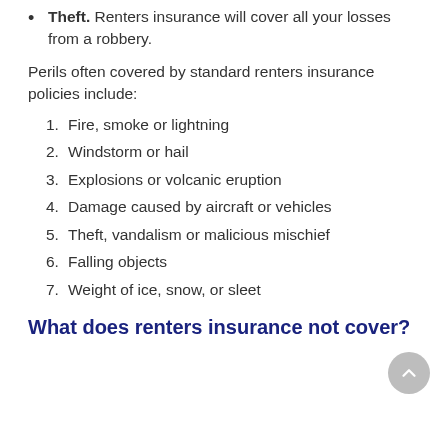Theft. Renters insurance will cover all your losses from a robbery.
Perils often covered by standard renters insurance policies include:
1. Fire, smoke or lightning
2. Windstorm or hail
3. Explosions or volcanic eruption
4. Damage caused by aircraft or vehicles
5. Theft, vandalism or malicious mischief
6. Falling objects
7. Weight of ice, snow, or sleet
What does renters insurance not cover?